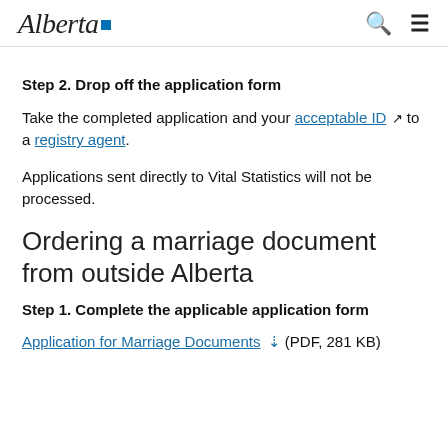Alberta [logo]
Step 2. Drop off the application form
Take the completed application and your acceptable ID [external link] to a registry agent.
Applications sent directly to Vital Statistics will not be processed.
Ordering a marriage document from outside Alberta
Step 1. Complete the applicable application form
Application for Marriage Documents (PDF, 281 KB)